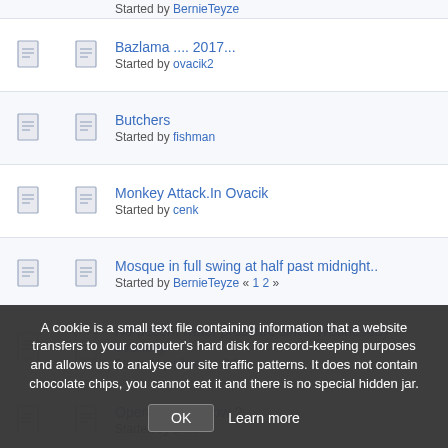Started by BernieTeyze
Bazlama .... 2017... Started by ovacik2
Butchers Started by fishman
Monkey Attack.In Ovacik Started by cenk
Mosque in full swing at half past midnight.. Started by BernieTeyze « 1 2 »
No decent water pressure since Wednesday evening. Started by Libra « 1 2 3 »
Open The Window ? Started by Libra
Oçakkoy or Orkakoy Started by ovacik2
Will it won't it?? "Sky Walk"
A cookie is a small text file containing information that a website transfers to your computer's hard disk for record-keeping purposes and allows us to analyse our site traffic patterns. It does not contain chocolate chips, you cannot eat it and there is no special hidden jar.